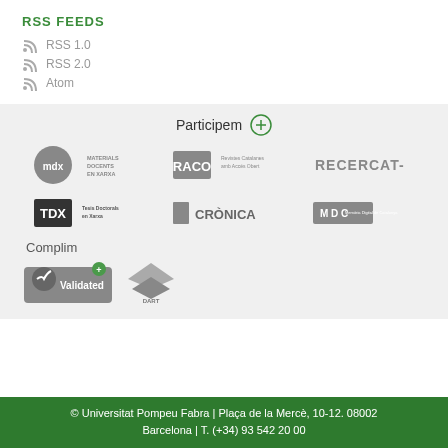RSS FEEDS
RSS 1.0
RSS 2.0
Atom
Participem
[Figure (logo): MDX Materiales Docents en Xarxa logo]
[Figure (logo): RACO Revistes Catalanes amb Accés Obert logo]
[Figure (logo): RECERCAT logo]
[Figure (logo): TDX Tesis Doctorals en Xarxa logo]
[Figure (logo): CRÒNICA logo]
[Figure (logo): MDC Memòria Digital de Catalunya logo]
Complim
[Figure (logo): Validated badge with plus sign]
[Figure (logo): DART Europe logo]
© Universitat Pompeu Fabra | Plaça de la Mercè, 10-12. 08002 Barcelona | T. (+34) 93 542 20 00